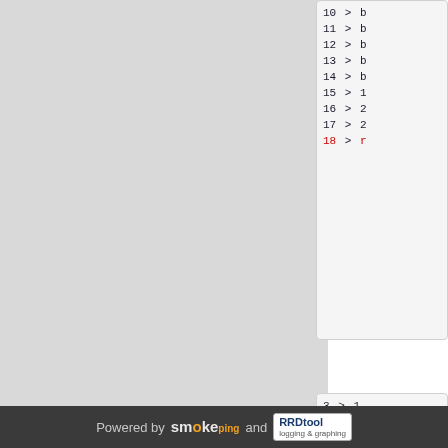[Figure (screenshot): Code listing snippet showing line numbers 10-18, with line 18 highlighted in red. Lines show '> b' or '> 1', '> 2', '> r' partial code. Part of a web application with dark background on left.]
[Figure (screenshot): Second code listing snippet showing line numbers 3-16, each line showing '>' arrow and partial code text.]
Powered by smokeping and RRDtool